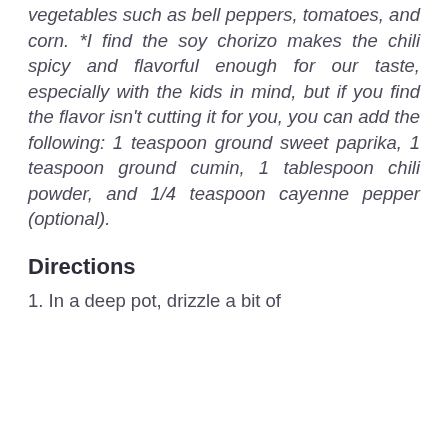vegetables such as bell peppers, tomatoes, and corn. *I find the soy chorizo makes the chili spicy and flavorful enough for our taste, especially with the kids in mind, but if you find the flavor isn't cutting it for you, you can add the following: 1 teaspoon ground sweet paprika, 1 teaspoon ground cumin, 1 tablespoon chili powder, and 1/4 teaspoon cayenne pepper (optional).
Directions
1. In a deep pot, drizzle a bit of